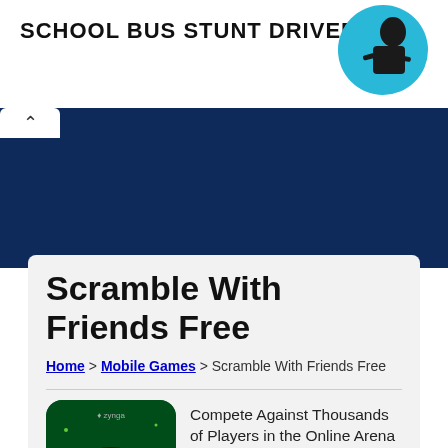[Figure (photo): Advertisement banner with bold text 'SCHOOL BUS STUNT DRIVER?' and a circular teal graphic showing a person silhouette]
[Figure (screenshot): Dark navy blue navigation bar with a white tab showing an up-arrow chevron]
Scramble With Friends Free
Home > Mobile Games > Scramble With Friends Free
[Figure (logo): Scramble With Friends app icon — dark green background with colorful 'Scramble with friends' logo text by Zynga]
Compete Against Thousands of Players in the Online Arena for Fast-Paced Spelling!